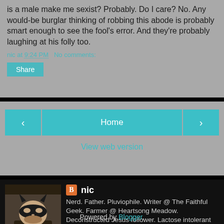is a male make me sexist? Probably. Do I care? No. Any would-be burglar thinking of robbing this abode is probably smart enough to see the fool's error. And they're probably laughing at his folly too.
nic at 9:24 PM   No comments:
Share
Home
View web version
[Figure (photo): Profile photo of a person wearing a Batman mask]
nic
Nerd. Father. Pluviophile. Writer @ The Faithful Geek. Farmer @ Heartsong Meadow. Deconstructed Jesus follower. Lactose intolerant lover of cheese. Exploring faith where parenting, politics, and pop culture meet.
View my complete profile
Powered by Blogger.